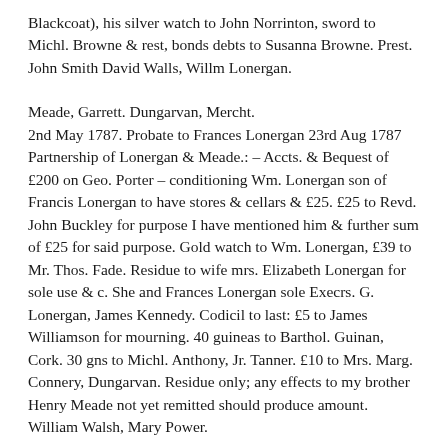Blackcoat), his silver watch to John Norrinton, sword to Michl. Browne & rest, bonds debts to Susanna Browne. Prest. John Smith David Walls, Willm Lonergan.
Meade, Garrett. Dungarvan, Mercht.
2nd May 1787. Probate to Frances Lonergan 23rd Aug 1787 Partnership of Lonergan & Meade.: – Accts. & Bequest of £200 on Geo. Porter – conditioning Wm. Lonergan son of Francis Lonergan to have stores & cellars & £25. £25 to Revd. John Buckley for purpose I have mentioned him & further sum of £25 for said purpose. Gold watch to Wm. Lonergan, £39 to Mr. Thos. Fade. Residue to wife mrs. Elizabeth Lonergan for sole use & c. She and Frances Lonergan sole Execrs. G. Lonergan, James Kennedy. Codicil to last: £5 to James Williamson for mourning. 40 guineas to Barthol. Guinan, Cork. 30 gns to Michl. Anthony, Jr. Tanner. £10 to Mrs. Marg. Connery, Dungarvan. Residue only; any effects to my brother Henry Meade not yet remitted should produce amount. William Walsh, Mary Power.